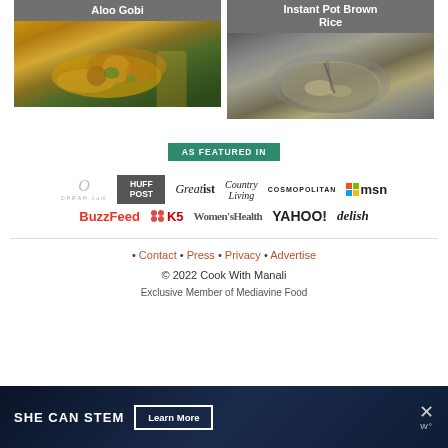[Figure (photo): Two food recipe cards: Aloo Gobi (Indian cauliflower dish in pan) and Instant Pot Brown Rice]
[Figure (infographic): As Featured In section with media logos: Oprah.com, HuffPost, Greatist, Country Living, Cosmopolitan, MSN, BuzzFeed, K5, Women's Health, Yahoo!, Delish]
• Contact • Press • Privacy • Advertise
© 2022 Cook With Manali
Exclusive Member of Mediavine Food
[Figure (infographic): SHE CAN STEM advertisement banner with Learn More button]